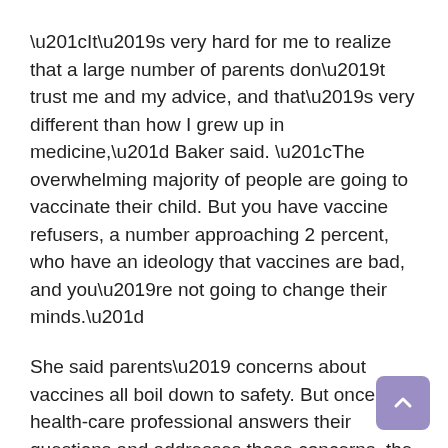“It’s very hard for me to realize that a large number of parents don’t trust me and my advice, and that’s very different than how I grew up in medicine,” Baker said. “The overwhelming majority of people are going to vaccinate their child. But you have vaccine refusers, a number approaching 2 percent, who have an ideology that vaccines are bad, and you’re not going to change their minds.”
She said parents’ concerns about vaccines all boil down to safety. But once a health-care professional answers their questions and addresses those concerns, the average parent will vaccinate their child, she added.
Safety concerns range from worries about autism — a result of a fraudulent study by a former British doctor that has since been debunked many times — to concerns about vaccine ingredients. Or that too many vaccines early in a child’s life will “overwhelm” his or her system. Once told that babies’ immune systems already fight off far more bacteria and viruses than their ingredients in vaccines, and that